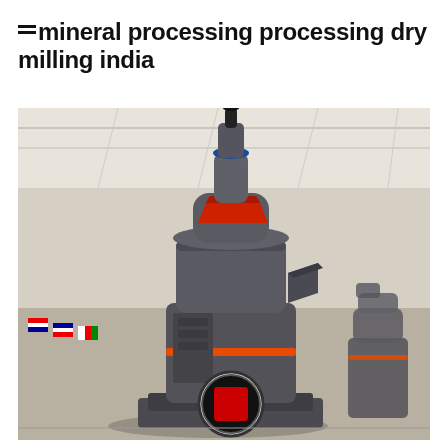mineral processing processing dry milling india
[Figure (photo): Industrial dry milling machine (vertical roller mill / Raymond mill type) photographed in a large factory/warehouse setting. The machine is dark grey with red and orange accent markings. It has a multi-tiered cylindrical body with a blue-capped exhaust pipe at the top, a red hopper/deflector near the upper section, an orange band around the mid-section, and a large red-windowed circular gauge/port near the base. A second smaller similar machine is visible in the background to the right. International flags are visible on the left side in the background.]